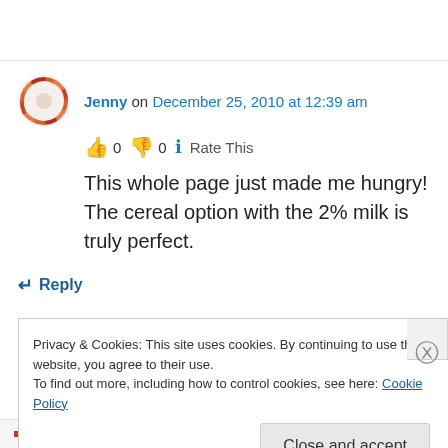Jenny on December 25, 2010 at 12:39 am
👍 0 👎 0 ℹ Rate This
This whole page just made me hungry! The cereal option with the 2% milk is truly perfect.
↵ Reply
Privacy & Cookies: This site uses cookies. By continuing to use this website, you agree to their use.
To find out more, including how to control cookies, see here: Cookie Policy
Close and accept